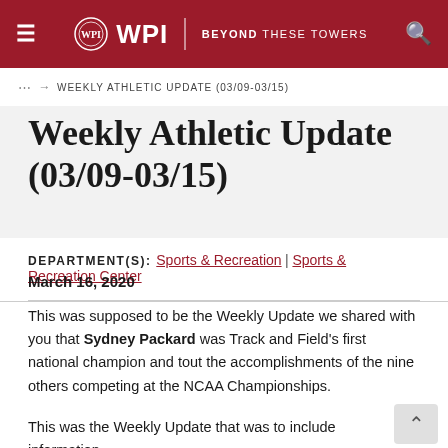≡  WPI | BEYOND THESE TOWERS  🔍
... → WEEKLY ATHLETIC UPDATE (03/09-03/15)
Weekly Athletic Update (03/09-03/15)
DEPARTMENT(S): Sports & Recreation | Sports & Recreation Center
March 16, 2020
This was supposed to be the Weekly Update we shared with you that Sydney Packard was Track and Field's first national champion and tout the accomplishments of the nine others competing at the NCAA Championships.
This was the Weekly Update that was to include information